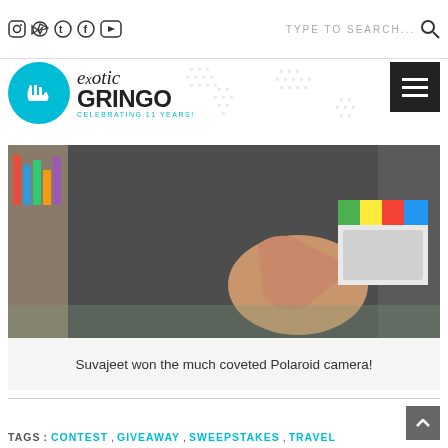Exotic Gringo — Celebrating 11 Years! | TYPE TO SEARCH...
[Figure (logo): Exotic Gringo logo with teal circle containing a hand gesture, text 'exotic GRINGO CELEBRATING 11 YEARS!']
[Figure (photo): Person in dark grey t-shirt holding a colorful Polaroid camera]
Suvajeet won the much coveted Polaroid camera!
TAGS: CONTEST, GIVEAWAY, SWEEPSTAKES, TRAVEL